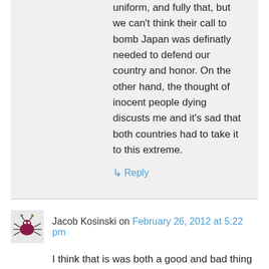uniform, and fully that, but we can't think their call to bomb Japan was definatly needed to defend our country and honor. On the other hand, the thought of inocent people dying discusts me and it's sad that both countries had to take it to this extreme.
↳ Reply
Jacob Kosinski on February 26, 2012 at 5:22 pm
I think that is was both a good and bad thing we bombed Hiroshima. It prevented a lot of death that would of happened if we invaded Japan instead of dropping the bombs. But still, we killed a lot of innocent civilians. Japan attacked the